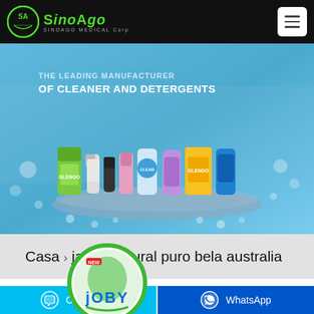SinoAgo SINOAGO MEDICAL Corp
[Figure (photo): Hero banner showing cleaning and detergent products (GLENGO brand) arranged on a blue podium display. Text overlay reads 'THE LEADING MANUFACTURER OF CLEANER AND DETERGENTS'. Background is aqua/teal blue with bubble decorations.]
Casa > jabón natural puro bela australia
[Figure (logo): JOBY brand logo - circular green logo with a cartoon character and 'NEW JOBY' text in blue and green colors]
Chat online
WhatsApp